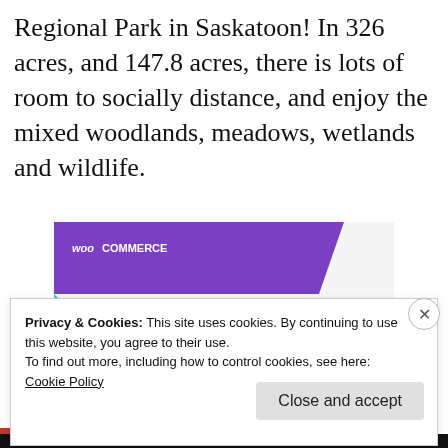Regional Park in Saskatoon! In 326 acres, and 147.8 acres, there is lots of room to socially distance, and enjoy the mixed woodlands, meadows, wetlands and wildlife.
[Figure (screenshot): WooCommerce advertisement banner: purple header with WooCommerce logo, teal triangle on left, light blue arc on right, bold text reading 'How to start selling subscriptions online']
Privacy & Cookies: This site uses cookies. By continuing to use this website, you agree to their use.
To find out more, including how to control cookies, see here: Cookie Policy